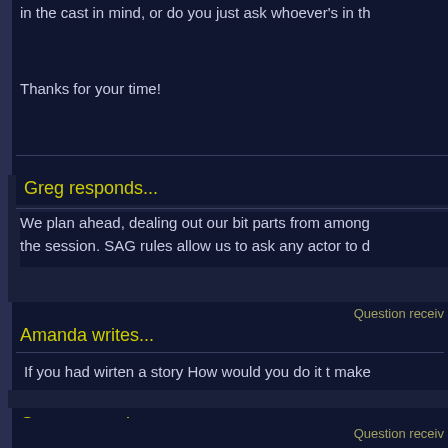in the cast in mind, or do you just ask whoever's in th
Thanks for your time!
Greg responds...
We plan ahead, dealing out our bit parts from among the session. SAG rules allow us to ask any actor to d
Question receiv
Amanda writes...
If you had wirten a story How would you do it t make
Greg responds...
You're looking at it.
Question receiv